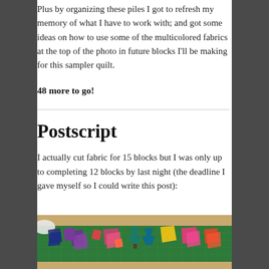Plus by organizing these piles I got to refresh my memory of what I have to work with; and got some ideas on how to use some of the multicolored fabrics at the top of the photo in future blocks I'll be making for this sampler quilt.
48 more to go!
Postscript
I actually cut fabric for 15 blocks but I was only up to completing 12 blocks by last night (the deadline I gave myself so I could write this post):
[Figure (photo): Photo of colorful quilt fabric pieces and blocks arranged on a green cutting mat on a wooden table. Various patterned fabric pieces in blues, purples, reds, greens, yellows, and pinks are scattered across the mat.]